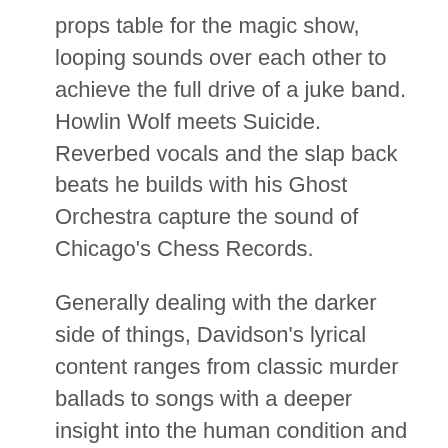props table for the magic show, looping sounds over each other to achieve the full drive of a juke band. Howlin Wolf meets Suicide. Reverbed vocals and the slap back beats he builds with his Ghost Orchestra capture the sound of Chicago's Chess Records.
Generally dealing with the darker side of things, Davidson's lyrical content ranges from classic murder ballads to songs with a deeper insight into the human condition and a sympathy and acceptance of the quirks of life and human foibles. Combining the older style of beerhall musician and the traditions of pantomime and audience involvement his live show is renowned for its sublime dance competitions and bawdy sing-alongs.
Support on the night will be Michael J Sheehy.
Tickets are £8 + b/f from Music Glue, Ticketweb or See Tickets.